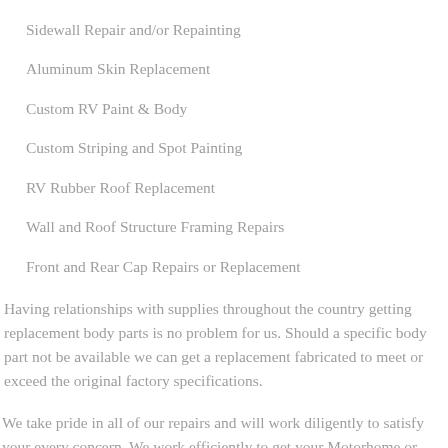Sidewall Repair and/or Repainting
Aluminum Skin Replacement
Custom RV Paint & Body
Custom Striping and Spot Painting
RV Rubber Roof Replacement
Wall and Roof Structure Framing Repairs
Front and Rear Cap Repairs or Replacement
Having relationships with supplies throughout the country getting replacement body parts is no problem for us. Should a specific body part not be available we can get a replacement fabricated to meet or exceed the original factory specifications.
We take pride in all of our repairs and will work diligently to satisfy your every concern. We work efficiently to get your Motorhome or Travel Trailer back for you to enjoy as quick as humanly possible. Quality RV collision and RV paint repair at affordable prices. Don't let your RV collision